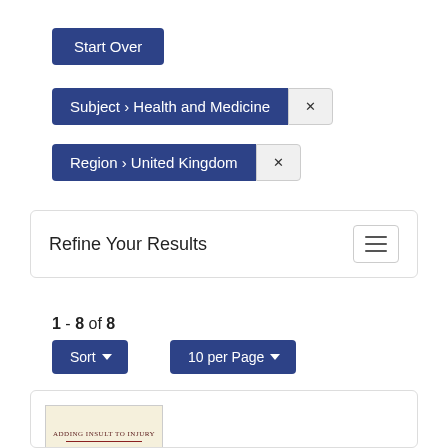Start Over
Subject › Health and Medicine ×
Region › United Kingdom ×
Refine Your Results
1 - 8 of 8
Sort ▾
10 per Page ▾
[Figure (screenshot): Book thumbnail showing 'Adding Insult to Injury' title on a cream-colored cover]